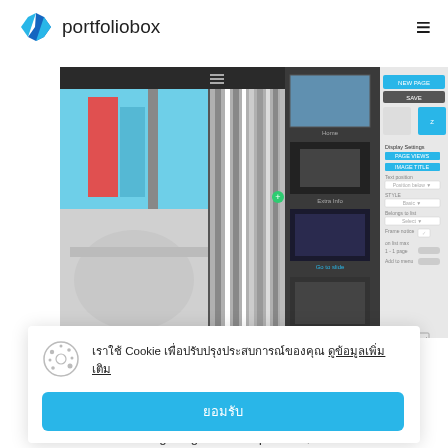[Figure (logo): Portfoliobox logo with blue diamond icon and text 'portfoliobox']
[Figure (screenshot): Screenshot of Portfoliobox website editor showing a photo gallery with architectural images and an editing panel on the right]
เราใช้ Cookie เพื่อปรับปรุงประสบการณ์ของคุณ ดูข้อมูลเพิ่มเติม
ยอมรับ
Sharing to Facebook is however only available in the image viewers where the image is given a unique URL, these are: